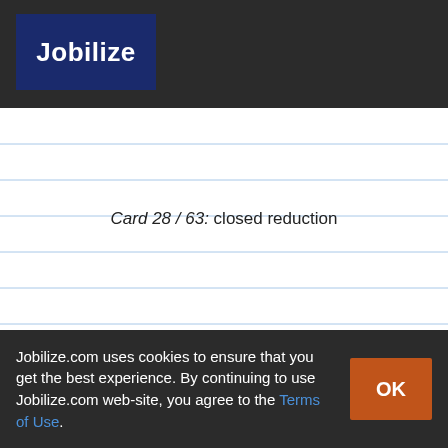[Figure (logo): Jobilize logo: white bold text on dark blue square background within dark grey navigation bar]
Card 28 / 63: closed reduction
Jobilize.com uses cookies to ensure that you get the best experience. By continuing to use Jobilize.com web-site, you agree to the Terms of Use.